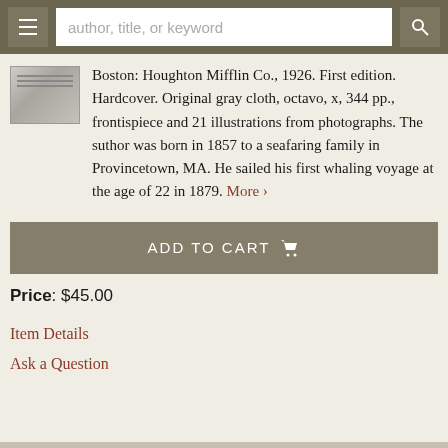author, title, or keyword
Boston: Houghton Mifflin Co., 1926. First edition. Hardcover. Original gray cloth, octavo, x, 344 pp., frontispiece and 21 illustrations from photographs. The suthor was born in 1857 to a seafaring family in Provincetown, MA. He sailed his first whaling voyage at the age of 22 in 1879. More ›
ADD TO CART 🛒
Price: $45.00
Item Details
Ask a Question